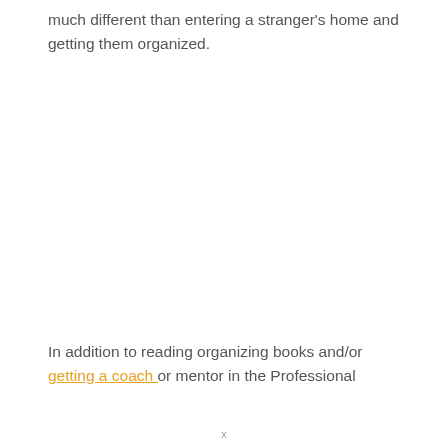much different than entering a stranger's home and getting them organized.
In addition to reading organizing books and/or getting a coach or mentor in the Professional
x